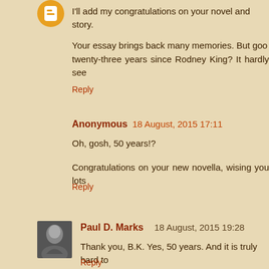[Figure (other): Blogger avatar icon - orange circle with white 'b' letter]
I'll add my congratulations on your novel and story.
Your essay brings back many memories. But good twenty-three years since Rodney King? It hardly see
Reply
Anonymous 18 August, 2015 17:11
Oh, gosh, 50 years!?
Congratulations on your new novella, wising you lots
Reply
[Figure (photo): Small black and white profile photo of Paul D. Marks]
Paul D. Marks 18 August, 2015 19:28
Thank you, B.K. Yes, 50 years. And it is truly hard to
Reply